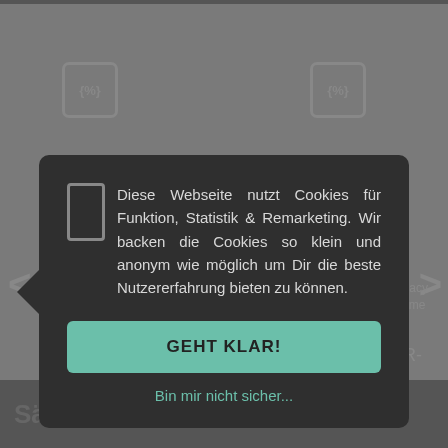[Figure (screenshot): Website cookie consent modal overlay on a grey e-commerce page. Modal has dark background with cookie policy text in German, a teal 'GEHT KLAR!' accept button, and a teal 'Bin mir nicht sicher...' decline link. Background shows percentage icons and navigation arrows for a product carousel. Bottom shows a dark banner with 'Sättel + Co. - Neue Produkte' text.]
Diese Webseite nutzt Cookies für Funktion, Statistik & Remarketing. Wir backen die Cookies so klein und anonym wie möglich um Dir die beste Nutzererfahrung bieten zu können.
GEHT KLAR!
Bin mir nicht sicher...
Sättel + Co. - Neue Produkte